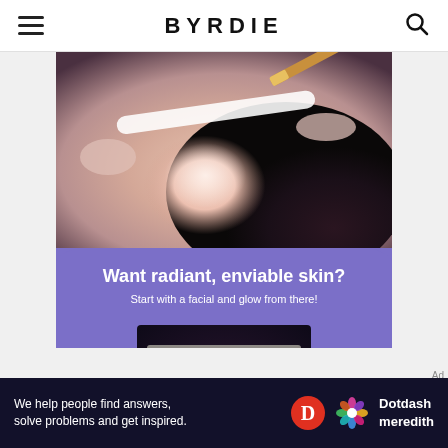BYRDIE
[Figure (photo): Woman lying down receiving a facial treatment with a brush, white headband, face covered in cream/mask, spa setting]
[Figure (infographic): Purple advertisement banner with text 'Want radiant, enviable skin? Start with a facial and glow from there!' and a photo of a woman in pink dress at a party with a 'CLASS 2005!' banner]
Ad
[Figure (infographic): Dotdash Meredith bottom banner: 'We help people find answers, solve problems and get inspired.' with D logo and flower logo and Dotdash meredith branding]